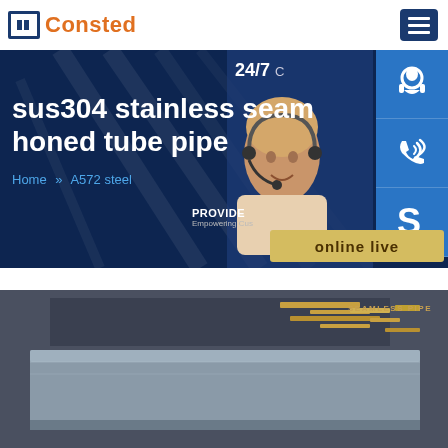Consted
sus304 stainless seam honed tube pipe
Home >> A572 steel
[Figure (screenshot): Website hero banner with dark navy background and decorative line patterns, featuring the product title 'sus304 stainless seam honed tube pipe' in white bold text, breadcrumb navigation 'Home >> A572 steel' in blue, a 24/7 customer service panel with an agent photo, three blue icon buttons (headset, phone, Skype), and an 'online live' button]
[Figure (photo): Product photo of stainless steel plate/sheet material on a dark surface with scattered metallic elements in the background]